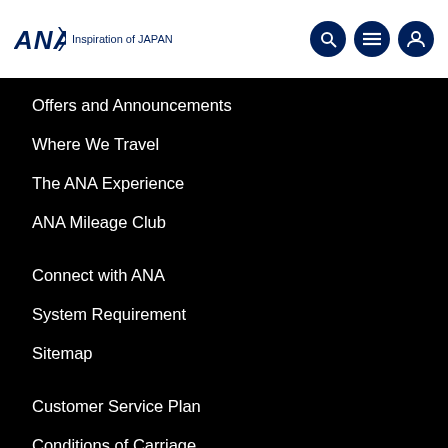ANA Inspiration of JAPAN
Offers and Announcements
Where We Travel
The ANA Experience
ANA Mileage Club
Connect with ANA
System Requirement
Sitemap
Customer Service Plan
Conditions of Carriage
ANA Group
Group Companies